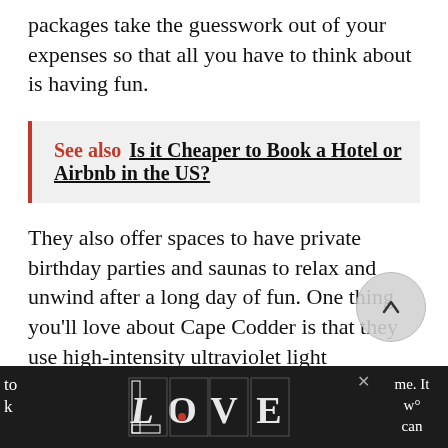packages take the guesswork out of your expenses so that all you have to think about is having fun.
See also  Is it Cheaper to Book a Hotel or Airbnb in the US?
They also offer spaces to have private birthday parties and saunas to relax and unwind after a long day of fun. One thing you'll love about Cape Codder is that they use high-intensity ultraviolet light
[Figure (other): LOVE branded advertisement banner at the bottom of the page with decorative illustrated lettering on dark background]